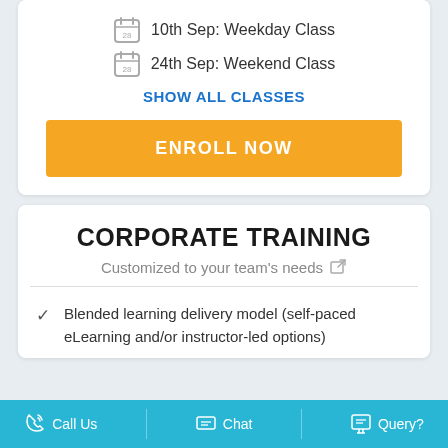10th Sep: Weekday Class
24th Sep: Weekend Class
SHOW ALL CLASSES
ENROLL NOW
CORPORATE TRAINING
Customized to your team's needs
Blended learning delivery model (self-paced eLearning and/or instructor-led options)
Call Us   Chat   Query?